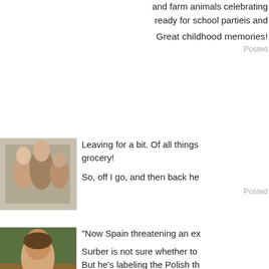and farm animals celebrating ready for school partieis and
Great childhood memories!
Posted
[Figure (photo): Old photo of children/people]
Leaving for a bit. Of all things grocery!
So, off I go, and then back he
Posted
[Figure (photo): Photo of a man outdoors]
"Now Spain threatening an ex
Surber is not sure whether to But he's labeling the Polish th
Post
[Figure (photo): Photo of a person in colorful costume]
Call it Spadios
[Figure (photo): Map or topographic image]
Spa salidas, thats too strange